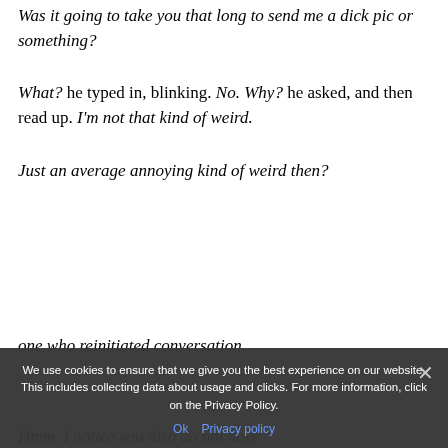Was it going to take you that long to send me a dick pic or something?
What? he typed in, blinking. No. Why? he asked, and then read up. I'm not that kind of weird.
Just an average annoying kind of weird then?
one who reinitiated conversation.
Hmm. I notice you also do not have
We use cookies to ensure that we give you the best experience on our website. This includes collecting data about usage and clicks. For more information, click on the Privacy Policy.